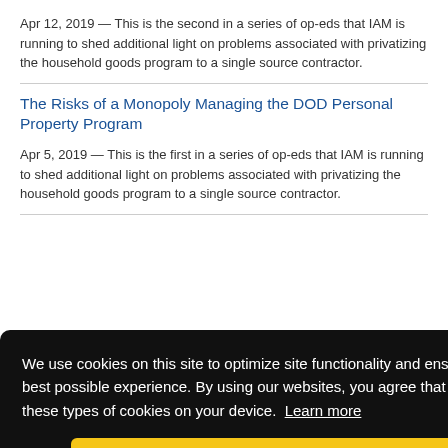Apr 12, 2019 — This is the second in a series of op-eds that IAM is running to shed additional light on problems associated with privatizing the household goods program to a single source contractor.
The Risks of a Monopoly Managing the DOD Personal Property Program
Apr 5, 2019 — This is the first in a series of op-eds that IAM is running to shed additional light on problems associated with privatizing the household goods program to a single source contractor.
We use cookies on this site to optimize site functionality and ensure you get the best possible experience. By using our websites, you agree that we can place these types of cookies on your device. Learn more
Got it!